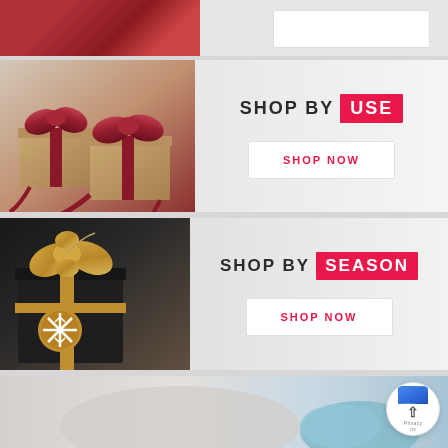[Figure (photo): Partial top banner showing gift boxes with red ribbon and a white button area]
[Figure (photo): Banner showing two brown gift boxes with dark red satin bows on a light background, with 'SHOP BY USE' heading and 'SHOP NOW' button on the right]
[Figure (photo): Banner showing a dark gift box with gold ribbon and snowflake tag on a light background, with 'SHOP BY SEASON' heading and 'SHOP NOW' button on the right]
[Figure (photo): Partial bottom banner showing a person in grey sweater holding a colorful gift, with a scroll-to-top button overlay]